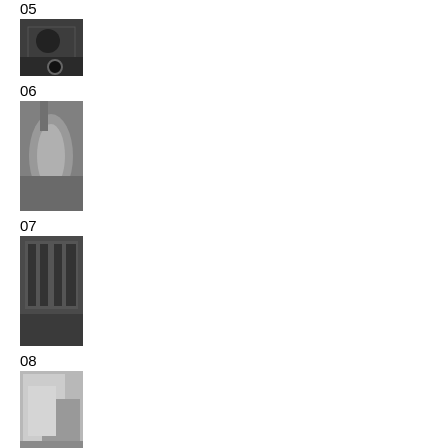05
[Figure (photo): Black and white photo, dark subject, possibly machinery or person]
06
[Figure (photo): Black and white photo of draped fabric or clothing]
07
[Figure (photo): Black and white photo of group of people or figures]
08
[Figure (photo): Black and white photo of fabric or cloth]
09
[Figure (photo): Black and white photo of people in a scene]
10
[Figure (photo): Color photo of people in an inflatable boat on water]